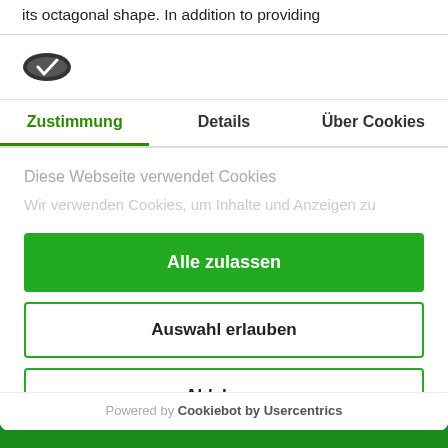its octagonal shape. In addition to providing
[Figure (logo): Cookiebot logo - dark oval shape with checkmark]
Zustimmung | Details | Über Cookies
Diese Webseite verwendet Cookies
Wir verwenden Cookies, um Inhalte und Anzeigen zu
Alle zulassen
Auswahl erlauben
Ablehnen
Powered by Cookiebot by Usercentrics